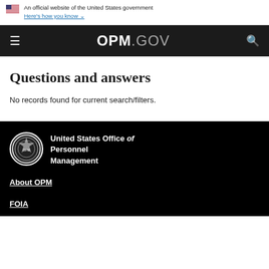An official website of the United States government Here's how you know
OPM.GOV
Questions and answers
No records found for current search/filters.
[Figure (logo): United States Office of Personnel Management seal]
United States Office of Personnel Management
About OPM
FOIA